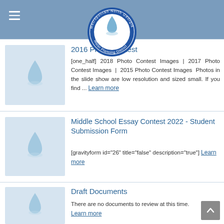Metropolitan North Georgia Water Planning District
2016 Photo Contest
[one_half] 2018 Photo Contest Images | 2017 Photo Contest Images | 2015 Photo Contest Images Photos in the slide show are low resolution and sized small. If you find ... Learn more
Middle School Essay Contest 2022 - Student Submission Form
[gravityform id="26" title="false" description="true"] Learn more
Draft Documents
There are no documents to review at this time. Learn more